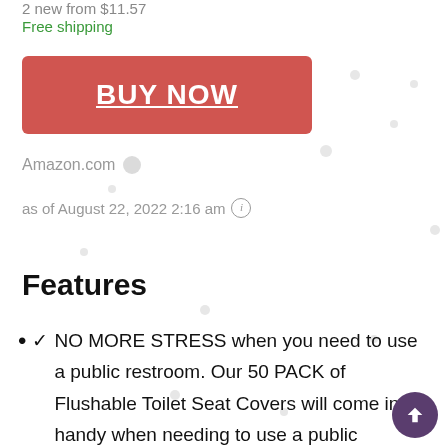2 new from $11.57
Free shipping
BUY NOW
Amazon.com
as of August 22, 2022 2:16 am
Features
✓ NO MORE STRESS when you need to use a public restroom. Our 50 PACK of Flushable Toilet Seat Covers will come in handy when needing to use a public restroom. Our seat covers are essential for safety and peace of mind.